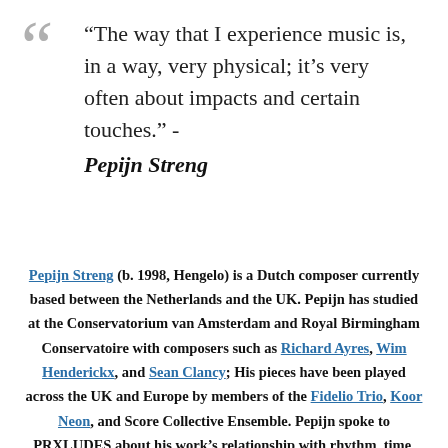“The way that I experience music is, in a way, very physical; it’s very often about impacts and certain touches.” - Pepijn Streng
Pepijn Streng (b. 1998, Hengelo) is a Dutch composer currently based between the Netherlands and the UK. Pepijn has studied at the Conservatorium van Amsterdam and Royal Birmingham Conservatoire with composers such as Richard Ayres, Wim Henderickx, and Sean Clancy; His pieces have been played across the UK and Europe by members of the Fidelio Trio, Koor Neon, and Score Collective Ensemble. Pepijn spoke to PRXLUDES about his work’s relationship with rhythm, time, physicality, and philosophy, as well as his relationship with his compositional process, the conservatoire environment, and the contemporary music industry.